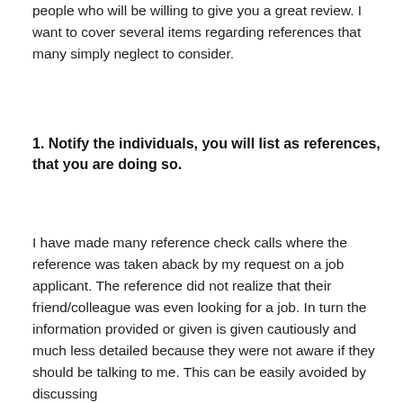people who will be willing to give you a great review. I want to cover several items regarding references that many simply neglect to consider.
1. Notify the individuals, you will list as references, that you are doing so.
I have made many reference check calls where the reference was taken aback by my request on a job applicant. The reference did not realize that their friend/colleague was even looking for a job. In turn the information provided or given is given cautiously and much less detailed because they were not aware if they should be talking to me. This can be easily avoided by discussing